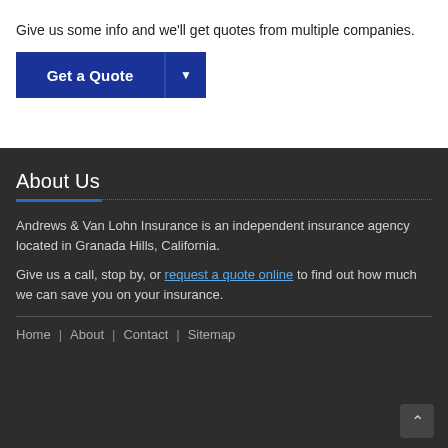Give us some info and we'll get quotes from multiple companies.
[Figure (other): Blue 'Get a Quote' button with dropdown arrow]
About Us
Andrews & Van Lohn Insurance is an independent insurance agency located in Granada Hills, California.
Give us a call, stop by, or request a quote online to find out how much we can save you on your insurance.
Home | About | Contact | Sitemap